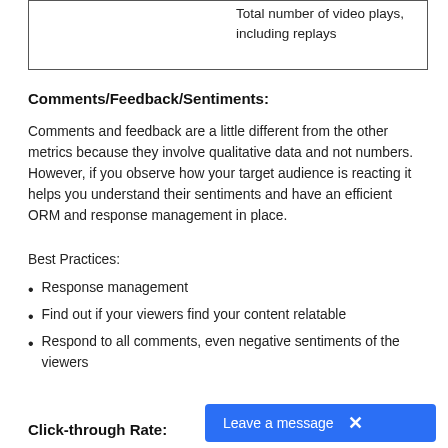Total number of video plays, including replays
Comments/Feedback/Sentiments:
Comments and feedback are a little different from the other metrics because they involve qualitative data and not numbers. However, if you observe how your target audience is reacting it helps you understand their sentiments and have an efficient ORM and response management in place.
Best Practices:
Response management
Find out if your viewers find your content relatable
Respond to all comments, even negative sentiments of the viewers
Click-through Rate: